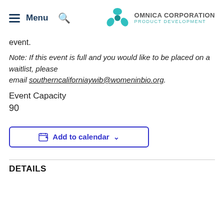Menu | Omnica Corporation Product Development
event.
Note: If this event is full and you would like to be placed on a waitlist, please email southerncaliforniaywib@womeninbio.org.
Event Capacity
90
Add to calendar
DETAILS